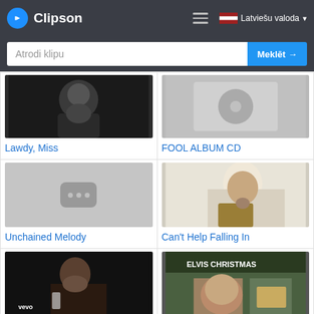Clipson
Atrodi klipu
Meklēt →
Latviešu valoda
[Figure (screenshot): Thumbnail for Lawdy, Miss]
Lawdy, Miss
[Figure (screenshot): Thumbnail for FOOL ALBUM CD]
FOOL ALBUM CD
[Figure (screenshot): Placeholder thumbnail for Unchained Melody]
Unchained Melody
[Figure (photo): Woman playing acoustic guitar for Can't Help Falling In]
Can't Help Falling In
[Figure (photo): Elvis Presley performing on stage for Something (Aloha]
Something (Aloha
[Figure (photo): Elvis Christmas album cover for Lonely This]
Lonely This